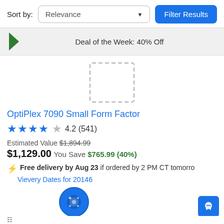Sort by:
Relevance
Filter Results
Deal of the Week: 40% Off
[Figure (other): Placeholder product image box (dashed border rectangle)]
OptiPlex 7090 Small Form Factor
4.2 (541)
Estimated Value $1,894.99
$1,129.00  You Save $765.99 (40%)
Free delivery by Aug 23 if ordered by 2 PM CT tomorrow
View Delivery Dates for 20146